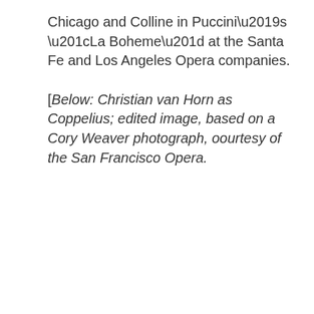Chicago and Colline in Puccini's “La Boheme” at the Santa Fe and Los Angeles Opera companies.
[Below: Christian van Horn as Coppelius; edited image, based on a Cory Weaver photograph, oourtesy of the San Francisco Opera.